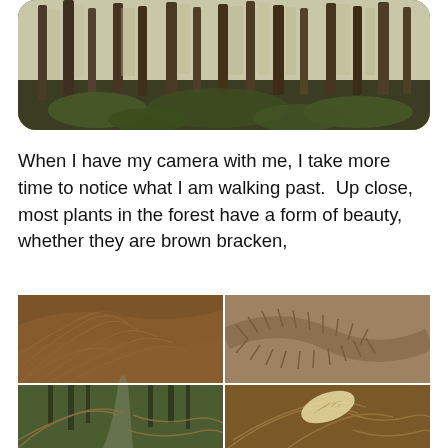[Figure (photo): Panoramic photo of a pine forest with tall straight tree trunks, green undergrowth, displayed with rounded corners.]
When I have my camera with me, I take more time to notice what I am walking past.  Up close, most plants in the forest have a form of beauty, whether they are brown bracken,
[Figure (photo): Collage of four forest photos: top-left shows dense brown bracken ferns filling the frame; top-right shows a close-up of a fern frond with detailed leaf pattern; bottom-left shows a forest path lined with bracken and trees; bottom-right shows brown ferns with a pale leaf.]